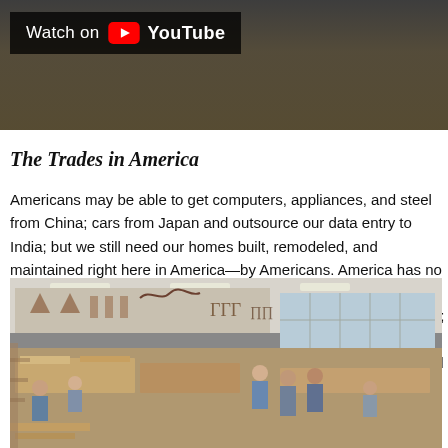[Figure (screenshot): YouTube video thumbnail showing woodworking/carpentry with 'Watch on YouTube' overlay button at top of page]
The Trades in America
Americans may be able to get computers, appliances, and steel from China; cars from Japan and outsource our data entry to India; but we still need our homes built, remodeled, and maintained right here in America—by Americans. America has no formal educational programs in the construction trades, and no continuing education programs focused specifically on the trades; no 'hands-on' programs that cover real-world skills, such as how to properly layout a foundation; how to lay block walls square and level; how to frame walls straight; how to install a window so it won't leak; how to design and build stairs.
[Figure (photo): Interior of a woodworking/carpentry workshop classroom with students and instructor, wooden furniture pieces being worked on, tools hanging on walls, large windows in background]